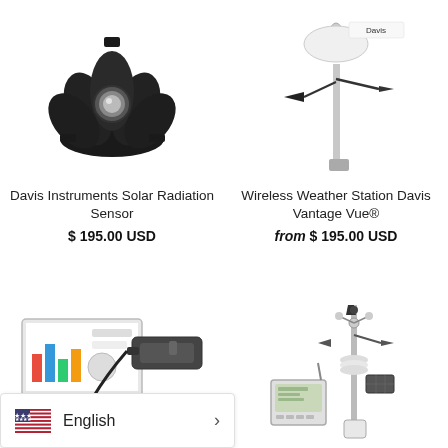[Figure (photo): Davis Instruments Solar Radiation Sensor - black dome-shaped sensor device]
Davis Instruments Solar Radiation Sensor
$ 195.00 USD
[Figure (photo): Wireless Weather Station Davis Vantage Vue® - white weather station on pole with wind vane and solar panel]
Wireless Weather Station Davis Vantage Vue®
from $ 195.00 USD
[Figure (photo): Davis data logger device with USB cable and software on laptop screen showing charts]
[Figure (photo): Davis Vantage Vue wireless weather station complete set with display console, station on pole]
English